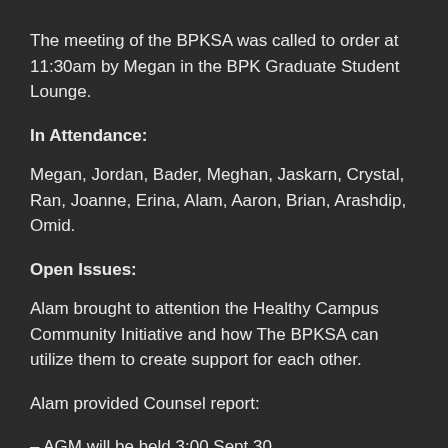The meeting of the BPKSA was called to order at 11:30am by Megan in the BPK Graduate Student Lounge.
In Attendance:
Megan, Jordan, Bader, Meghan, Jaskarn, Crystal, Ran, Joanne, Erina, Alam, Aaron, Brian, Arashdip, Omid.
Open Issues:
Alam brought to attention the Healthy Campus Community Initiative and how The BPKSA can utilize them to create support for each other.
Alam provided Counsel report:
– AGM will be held 3:00 Sept 30,